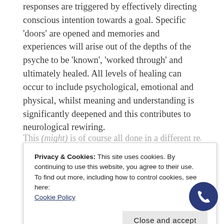responses are triggered by effectively directing conscious intention towards a goal. Specific 'doors' are opened and memories and experiences will arise out of the depths of the psyche to be 'known', 'worked through' and ultimately healed. All levels of healing can occur to include psychological, emotional and physical, whilst meaning and understanding is significantly deepened and this contributes to neurological rewiring.
This (might is of course all done in a different realm...
[Figure (screenshot): Cookie consent banner overlay with text: 'Privacy & Cookies: This site uses cookies. By continuing to use this website, you agree to their use. To find out more, including how to control cookies, see here: Cookie Policy' and a 'Close and accept' button.]
physical prior Self/identity/character but we also interact with beings from other dimensions and